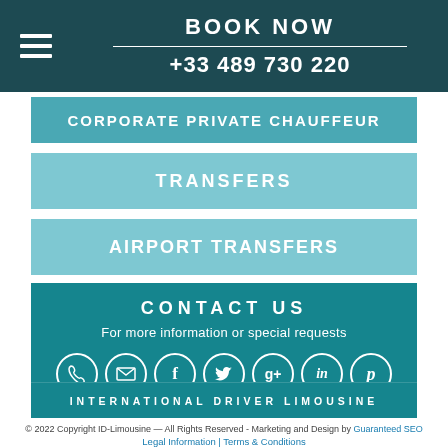BOOK NOW
+33 489 730 220
CORPORATE PRIVATE CHAUFFEUR
TRANSFERS
AIRPORT TRANSFERS
CONTACT US
For more information or special requests
[Figure (infographic): Row of 7 circular social/contact icons: phone, email, Facebook, Twitter, Google+, LinkedIn, Pinterest]
INTERNATIONAL DRIVER LIMOUSINE
© 2022 Copyright ID-Limousine — All Rights Reserved - Marketing and Design by Guaranteed SEO
Legal Information | Terms & Conditions